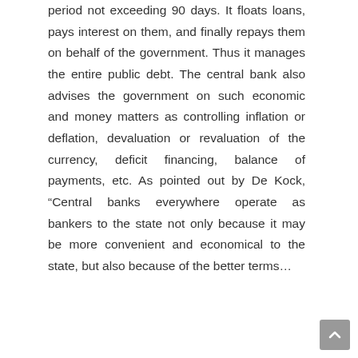period not exceeding 90 days. It floats loans, pays interest on them, and finally repays them on behalf of the government. Thus it manages the entire public debt. The central bank also advises the government on such economic and money matters as controlling inflation or deflation, devaluation or revaluation of the currency, deficit financing, balance of payments, etc. As pointed out by De Kock, “Central banks everywhere operate as bankers to the state not only because it may be more convenient and economical to the state, but also because of the better terms…